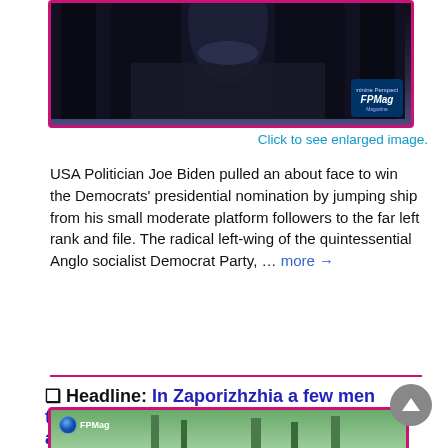[Figure (photo): Dark atmospheric photo with a path leading through trees, with an FPMag watermark badge in the bottom right.]
Click to see enlarged image.
USA Politician Joe Biden pulled an about face to win the Democrats' presidential nomination by jumping ship from his small moderate platform followers to the far left rank and file. The radical left-wing of the quintessential Anglo socialist Democrat Party, … more →
❏ Headline: In Zaporizhzhia a few men threatening humanity must be held accountable
by Micheal John OBrien, Sun, 21 Aug 2022 17:08:58 GMT
[Figure (photo): Partial bottom strip showing a green outdoor scene with FPMag logo badge.]